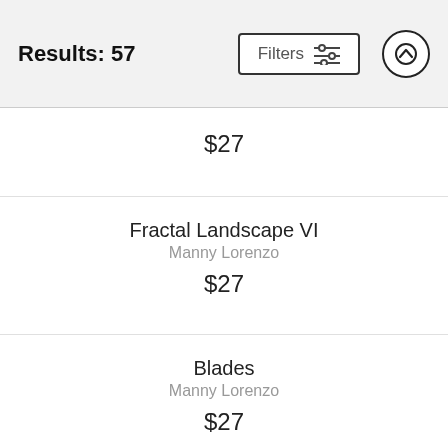Results: 57
$27
Fractal Landscape VI
Manny Lorenzo
$27
Blades
Manny Lorenzo
$27